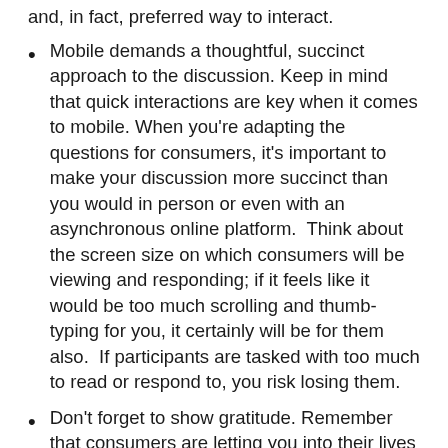and, in fact, preferred way to interact.
Mobile demands a thoughtful, succinct approach to the discussion. Keep in mind that quick interactions are key when it comes to mobile. When you’re adapting the questions for consumers, it’s important to make your discussion more succinct than you would in person or even with an asynchronous online platform.  Think about the screen size on which consumers will be viewing and responding; if it feels like it would be too much scrolling and thumb-typing for you, it certainly will be for them also.  If participants are tasked with too much to read or respond to, you risk losing them.
Don’t forget to show gratitude. Remember that consumers are letting you into their lives and, in many cases, sharing very personal and special experiences with you. The more appreciated